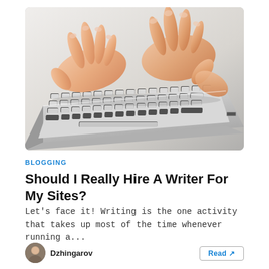[Figure (photo): Close-up photograph of female hands typing on a silver laptop keyboard, white background, shallow depth of field.]
BLOGGING
Should I Really Hire A Writer For My Sites?
Let's face it! Writing is the one activity that takes up most of the time whenever running a...
Dzhingarov